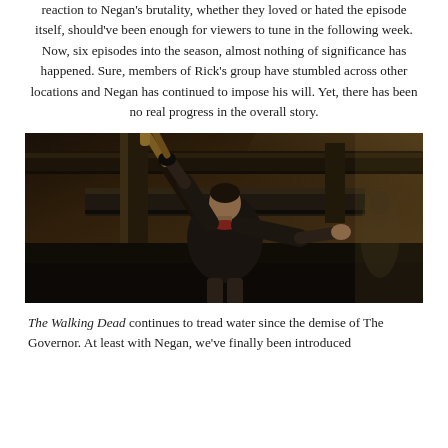reaction to Negan's brutality, whether they loved or hated the episode itself, should've been enough for viewers to tune in the following week. Now, six episodes into the season, almost nothing of significance has happened. Sure, members of Rick's group have stumbled across other locations and Negan has continued to impose his will. Yet, there has been no real progress in the overall story.
[Figure (photo): A man in a black leather jacket holding a baseball bat raised in one hand and gesturing with the other arm extended, standing in front of a dark industrial background with large pipes or ducts.]
The Walking Dead continues to tread water since the demise of The Governor. At least with Negan, we've finally been introduced